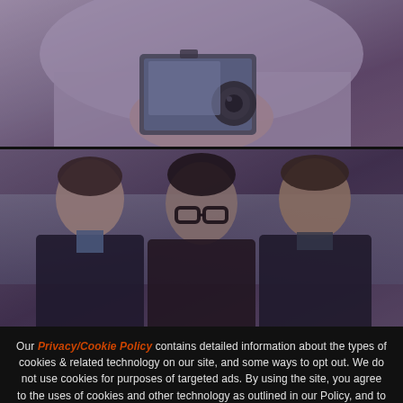[Figure (photo): Close-up photo of a person's torso/hands holding a camera device, purple/mauve toned]
[Figure (photo): Photo of three men smiling and posing together against a blue-gray background, purple-tinted]
Our Privacy/Cookie Policy contains detailed information about the types of cookies & related technology on our site, and some ways to opt out. We do not use cookies for purposes of targeted ads. By using the site, you agree to the uses of cookies and other technology as outlined in our Policy, and to our Terms of Use.
Close